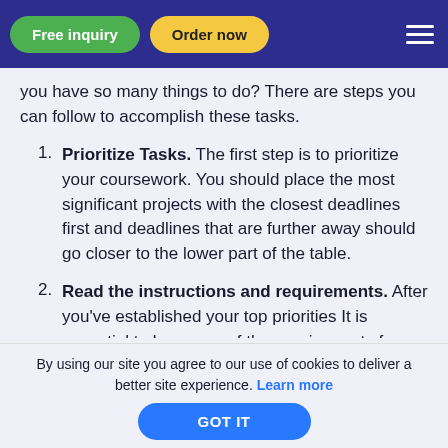Free inquiry | Order now
you have so many things to do? There are steps you can follow to accomplish these tasks.
1. Prioritize Tasks. The first step is to prioritize your coursework. You should place the most significant projects with the closest deadlines first and deadlines that are further away should go closer to the lower part of the table.
2. Read the instructions and requirements. After you've established your top priorities It is essential to be aware of the requirements for each one. Choose the type of paper you'll utilize, how long it should take,
By using our site you agree to our use of cookies to deliver a better site experience. Learn more  GOT IT